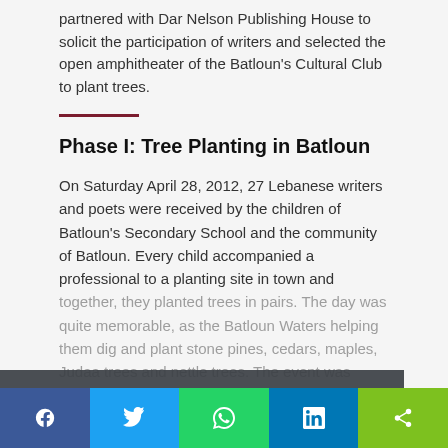partnered with Dar Nelson Publishing House to solicit the participation of writers and selected the open amphitheater of the Batloun's Cultural Club to plant trees.
Phase I: Tree Planting in Batloun
On Saturday April 28, 2012, 27 Lebanese writers and poets were received by the children of Batloun's Secondary School and the community of Batloun. Every child accompanied a professional to a planting site in town and together, they planted trees in pairs. The day was quite memorable, as the Batloun Waters helping them dig and plant stone pines, cedars, maples, Judaa trees and nettle trees. The event was followed by a book signing
Our website uses cookies to analyze web traffic and provide a simple user interface. Learn more
Got it!